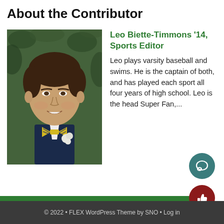About the Contributor
[Figure (photo): Portrait photo of Leo Biette-Timmons, a young man in a dark suit jacket with a yellow and navy striped bow tie and a white flower boutonniere, smiling, with green foliage background.]
Leo Biette-Timmons '14, Sports Editor
Leo plays varsity baseball and swims. He is the captain of both, and has played each sport all four years of high school. Leo is the head Super Fan,...
© 2022 • FLEX WordPress Theme by SNO • Log in